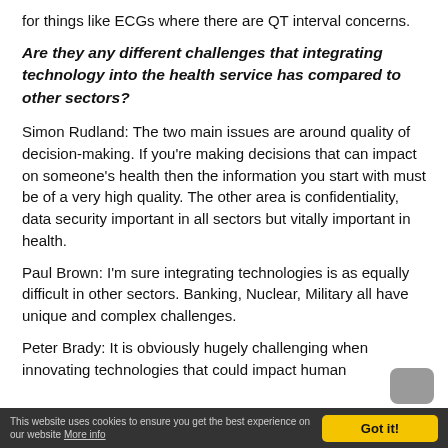for things like ECGs where there are QT interval concerns.
Are they any different challenges that integrating technology into the health service has compared to other sectors?
Simon Rudland: The two main issues are around quality of decision-making. If you're making decisions that can impact on someone's health then the information you start with must be of a very high quality. The other area is confidentiality, data security important in all sectors but vitally important in health.
Paul Brown: I'm sure integrating technologies is as equally difficult in other sectors. Banking, Nuclear, Military all have unique and complex challenges.
Peter Brady: It is obviously hugely challenging when innovating technologies that could impact human
This website uses cookies to ensure you get the best experience on our website More info